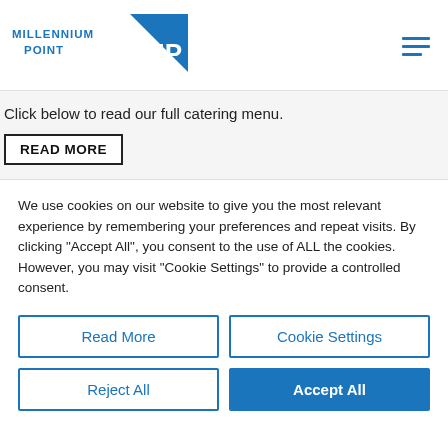[Figure (logo): Millennium Point logo — blue triangle with MP monogram and text MILLENNIUM POINT in blue]
Click below to read our full catering menu.
READ MORE
We use cookies on our website to give you the most relevant experience by remembering your preferences and repeat visits. By clicking “Accept All”, you consent to the use of ALL the cookies. However, you may visit “Cookie Settings” to provide a controlled consent.
Read More
Cookie Settings
Reject All
Accept All